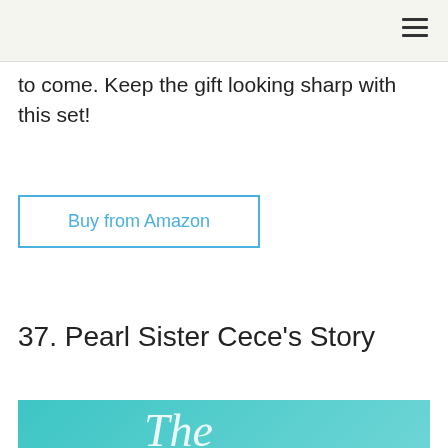to come. Keep the gift looking sharp with this set!
Buy from Amazon
37. Pearl Sister Cece's Story
[Figure (photo): Book cover image with teal background showing cursive text 'The']